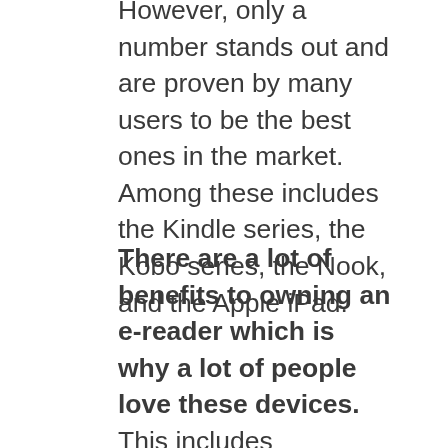However, only a number stands out and are proven by many users to be the best ones in the market. Among these includes the Kindle series, the Kobo series, the Nook, and the Apple iPad.
There are a lot of benefits to owning an e-reader which is why a lot of people love these devices. This includes portability, storage capacity, accessibility to a range of eBooks, dictionary feature, text-to-speech feature, text size customization, better night reading experience, eBooks are more affordable and lasts longer than printed books, and so much more.
St
an
dal
on